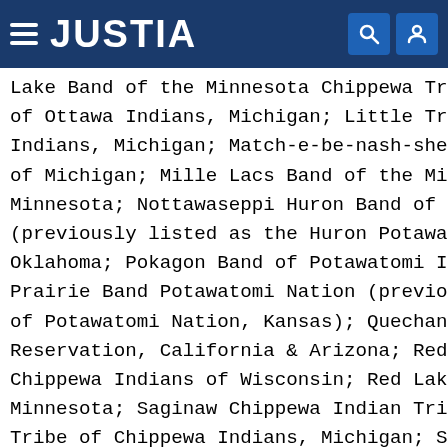JUSTIA
Lake Band of the Minnesota Chippewa Tribe, Mi; of Ottawa Indians, Michigan; Little Traverse B; Indians, Michigan; Match-e-be-nash-she-wish Ba; of Michigan; Mille Lacs Band of the Minnesota; Minnesota; Nottawaseppi Huron Band of the Pota; (previously listed as the Huron Potawatomi, In; Oklahoma; Pokagon Band of Potawatomi Indians,; Prairie Band Potawatomi Nation (previously lis; of Potawatomi Nation, Kansas); Quechan Tribe o; Reservation, California & Arizona; Red Cliff B; Chippewa Indians of Wisconsin; Red Lake Band o; Minnesota; Saginaw Chippewa Indian Tribe of Mi; Tribe of Chippewa Indians, Michigan; Sokaogon; Wisconsin; St. Croix Chippewa Indians of Wisco; Band of Chippewa Indians of North Dakota; Whit; Minnesota Chippewa Tribe, Minnesota; and the W; Treaties, Acts of Congress, or Executive